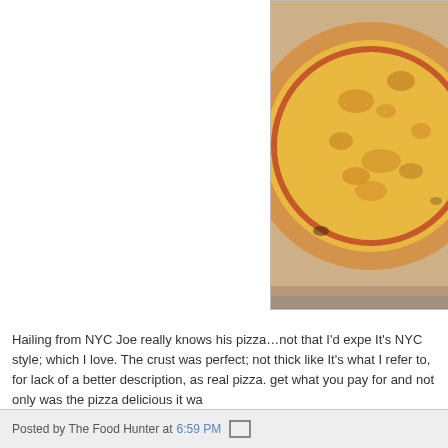[Figure (photo): A whole cheese pizza in an open cardboard delivery box, NYC style, with golden-brown melted cheese and visible tomato sauce crust. Photo is partially cut off on the right side.]
Hailing from NYC Joe really knows his pizza…not that I'd expe It's NYC style; which I love. The crust was perfect; not thick like It's what I refer to, for lack of a better description, as real pizza. get what you pay for and not only was the pizza delicious it wa
So was it worth driving with it for 50 minutes in the back seat… on the side of the road eating a slice. If you do...please just kee
Posted by The Food Hunter at 6:59 PM